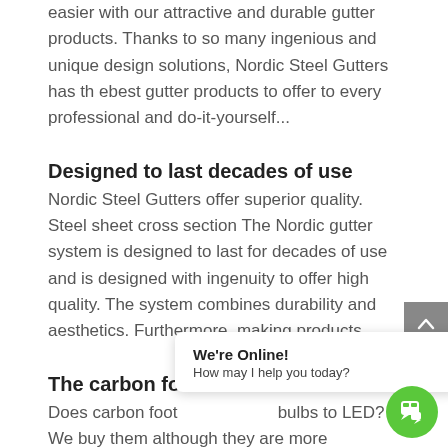easier with our attractive and durable gutter products. Thanks to so many ingenious and unique design solutions, Nordic Steel Gutters has th ebest gutter products to offer to every professional and do-it-yourself...
Designed to last decades of use
Nordic Steel Gutters offer superior quality. Steel sheet cross section The Nordic gutter system is designed to last for decades of use and is designed with ingenuity to offer high quality. The system combines durability and aesthetics. Furthermore, making products...
The carbon foo
Does carbon foot... bulbs to LED? We buy them although they are more